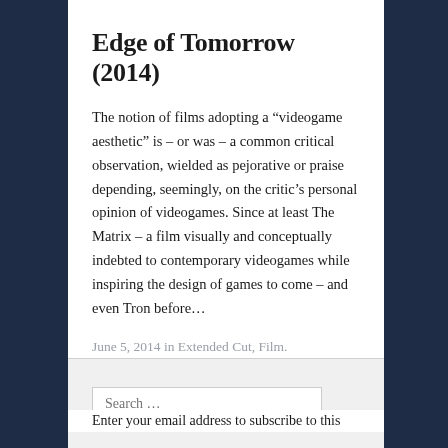Edge of Tomorrow (2014)
The notion of films adopting a “videogame aesthetic” is – or was – a common critical observation, wielded as pejorative or praise depending, seemingly, on the critic’s personal opinion of videogames. Since at least The Matrix – a film visually and conceptually indebted to contemporary videogames while inspiring the design of games to come – and even Tron before…
June 5, 2014 in Extended Cut, Film.
Search …
Enter your email address to subscribe to this